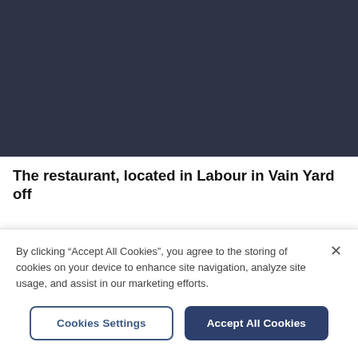[Figure (photo): Dark navy/charcoal colored rectangle representing a video or image placeholder area at the top of a webpage]
The restaurant, located in Labour in Vain Yard off
By clicking “Accept All Cookies”, you agree to the storing of cookies on your device to enhance site navigation, analyze site usage, and assist in our marketing efforts.
Cookies Settings
Accept All Cookies